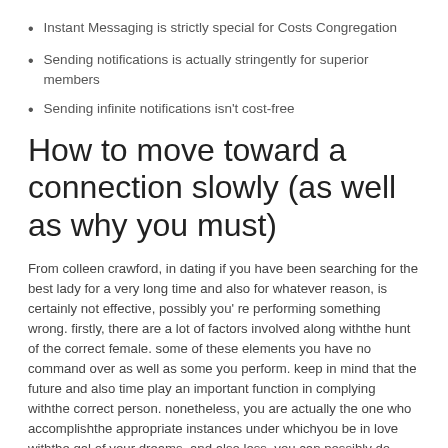Instant Messaging is strictly special for Costs Congregation
Sending notifications is actually stringently for superior members
Sending infinite notifications isn't cost-free
How to move toward a connection slowly (as well as why you must)
From colleen crawford, in dating if you have been searching for the best lady for a very long time and also for whatever reason, is certainly not effective, possibly you' re performing something wrong. firstly, there are a lot of factors involved along withthe hunt of the correct female. some of these elements you have no command over as well as some you perform. keep in mind that the future and also time play an important function in complying withthe correct person. nonetheless, you are actually the one who accomplishthe appropriate instances under whichyou be in love withthe gal of your dreams, and also loss. you can possibly do some work on yourself if